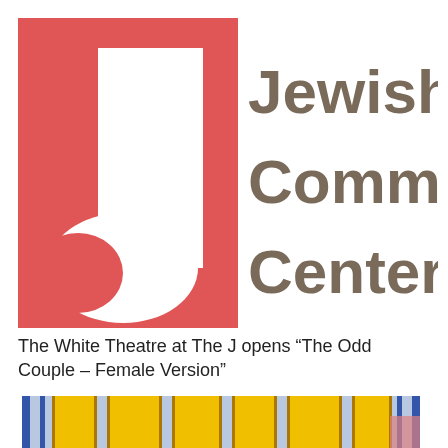[Figure (logo): Jewish Community Center logo: large red rectangle with white letter J shape cutout on left side, and the text 'Jewish Commun Center' in brown/taupe sans-serif font on the right side]
The White Theatre at The J opens “The Odd Couple – Female Version”
[Figure (photo): Partial image showing yellow geometric shapes with dark outlines on a light blue background, resembling stained glass or abstract art panels]